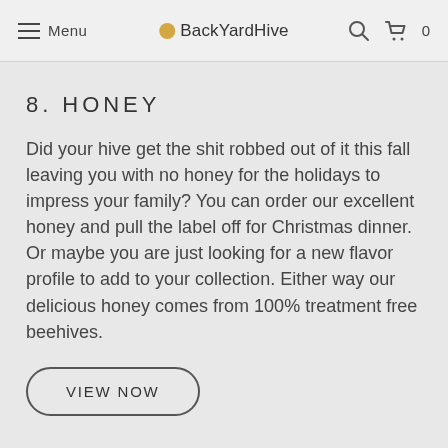Menu  BackYardHive  0
8.  HONEY
Did your hive get the shit robbed out of it this fall leaving you with no honey for the holidays to impress your family? You can order our excellent honey and pull the label off for Christmas dinner. Or maybe you are just looking for a new flavor profile to add to your collection. Either way our delicious honey comes from 100% treatment free beehives.
VIEW NOW